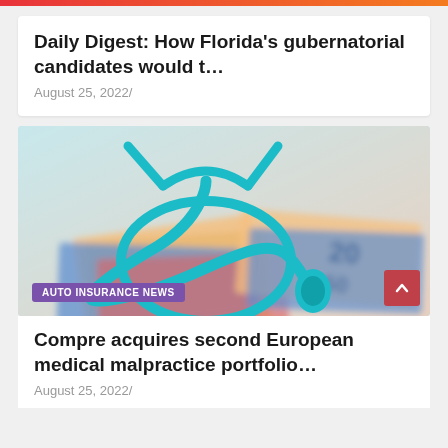Daily Digest: How Florida's gubernatorial candidates would t…
August 25, 2022/
[Figure (photo): A teal stethoscope resting on top of Euro banknotes, with a blurred background.]
AUTO INSURANCE NEWS
Compre acquires second European medical malpractice portfolio…
August 25, 2022/